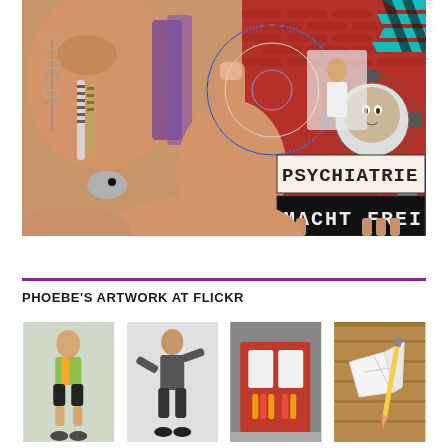[Figure (illustration): Large detailed colored pencil/mixed media artwork: a collage-style drawing featuring a close-up of a person holding up their middle finger, wearing a blue target/bullseye ring. Various elements surround them including keys, feathers, a doctor in a brick wall scene, gears with a face inside, and a sign reading 'PSYCHIATRIE MACHT FREI'. Artist signature visible bottom left.]
PHOEBE'S ARTWORK AT FLICKR
[Figure (photo): Thumbnail image: figure in shorts and colorful top]
[Figure (photo): Thumbnail image: figure in dark pants, artistic pose]
[Figure (photo): Thumbnail image: red display stand with bottles]
[Figure (photo): Thumbnail image: broken ceramic on wooden surface with paintbrush]